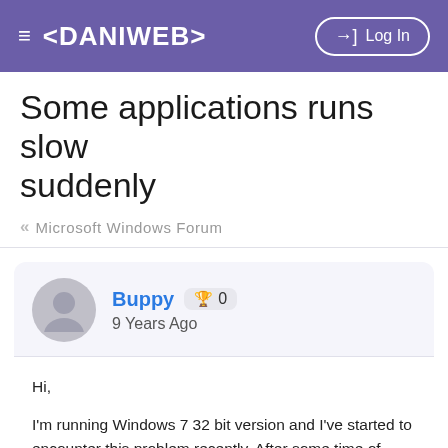≡ <DANIWEB>   →] Log In
Some applications runs slow suddenly
« Microsoft Windows Forum
Buppy 🏆 0
9 Years Ago
Hi,

I'm running Windows 7 32 bit version and I've started to encounter this problem recently. After some time of using the computer (random mostly), several applications like Chrome and Windows bases applications (cmd, task manager, windows explorer, etc) starts to run really slow.